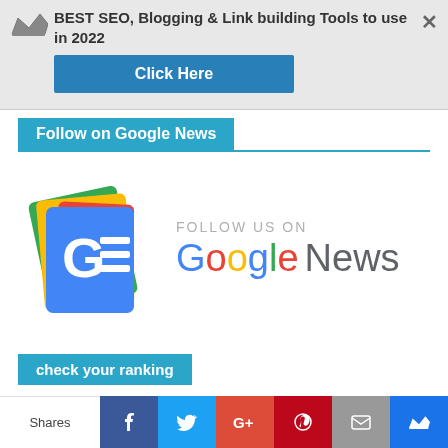[Figure (screenshot): Ad banner: BEST SEO, Blogging & Link building Tools to use in 2022 with a crown icon, Click Here button in blue, and X close button]
Follow on Google News
[Figure (logo): Google News logo: GE icon with colorful paper stack on left, FOLLOW US ON text above Google News wordmark in brand colors]
check your ranking
[Figure (infographic): Social share bar with Facebook, Twitter, Google+, Pinterest, Email, and crown icon buttons. Shares label on left.]